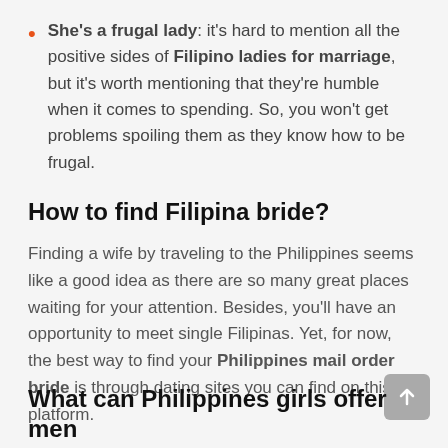She's a frugal lady: it's hard to mention all the positive sides of Filipino ladies for marriage, but it's worth mentioning that they're humble when it comes to spending. So, you won't get problems spoiling them as they know how to be frugal.
How to find Filipina bride?
Finding a wife by traveling to the Philippines seems like a good idea as there are so many great places waiting for your attention. Besides, you'll have an opportunity to meet single Filipinas. Yet, for now, the best way to find your Philippines mail order bride is through dating sites you can find on this platform.
What can Philippines girls offer men